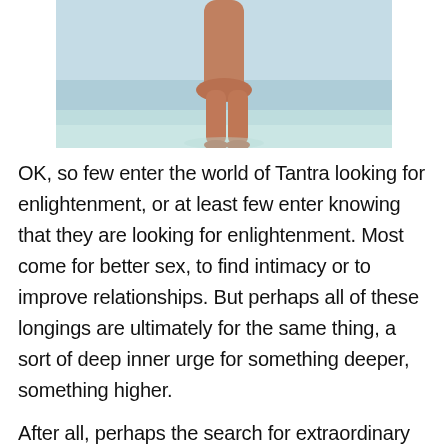[Figure (photo): Person standing in shallow water at a beach, lower body visible from waist/legs down]
OK, so few enter the world of Tantra looking for enlightenment, or at least few enter knowing that they are looking for enlightenment. Most come for better sex, to find intimacy or to improve relationships. But perhaps all of these longings are ultimately for the same thing, a sort of deep inner urge for something deeper, something higher.
After all, perhaps the search for extraordinary sexual experience is also the search for death…not the physical kind, but a certain death into the beyond. Beyond [social share bar] ond everyday concerns and worries, beyond thought…beyond